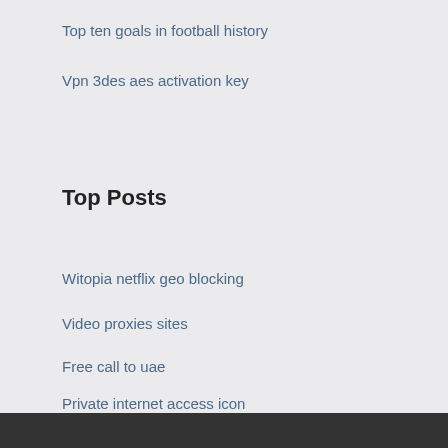Top ten goals in football history
Vpn 3des aes activation key
Top Posts
Witopia netflix geo blocking
Video proxies sites
Free call to uae
Private internet access icon
How to lan